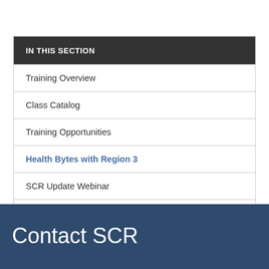IN THIS SECTION
Training Overview
Class Catalog
Training Opportunities
Health Bytes with Region 3
SCR Update Webinar
Systematic Review Webinar Series
Patient Safety Webinar Series
Contact SCR